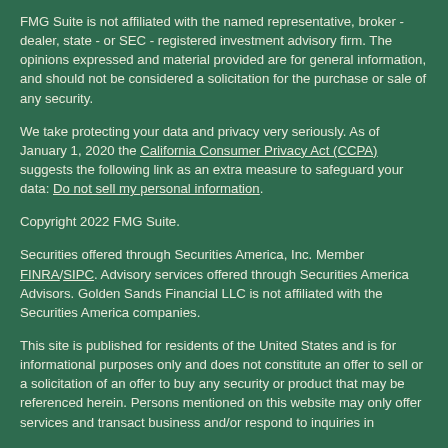FMG Suite is not affiliated with the named representative, broker - dealer, state - or SEC - registered investment advisory firm. The opinions expressed and material provided are for general information, and should not be considered a solicitation for the purchase or sale of any security.
We take protecting your data and privacy very seriously. As of January 1, 2020 the California Consumer Privacy Act (CCPA) suggests the following link as an extra measure to safeguard your data: Do not sell my personal information.
Copyright 2022 FMG Suite.
Securities offered through Securities America, Inc. Member FINRA/SIPC. Advisory services offered through Securities America Advisors. Golden Sands Financial LLC is not affiliated with the Securities America companies.
This site is published for residents of the United States and is for informational purposes only and does not constitute an offer to sell or a solicitation of an offer to buy any security or product that may be referenced herein. Persons mentioned on this website may only offer services and transact business and/or respond to inquiries in